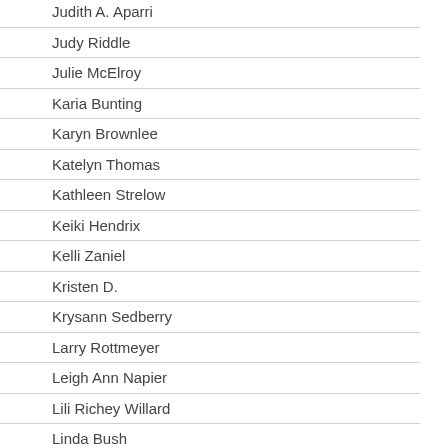Judith A. Aparri
Judy Riddle
Julie McElroy
Karia Bunting
Karyn Brownlee
Katelyn Thomas
Kathleen Strelow
Keiki Hendrix
Kelli Zaniel
Kristen D.
Krysann Sedberry
Larry Rottmeyer
Leigh Ann Napier
Lili Richey Willard
Linda Bush
Lindsay Reeves